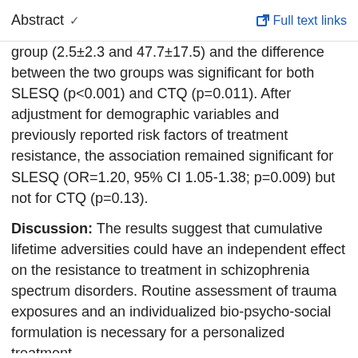Abstract   ✓     Full text links
group had higher score on both SLESQ and CTQ ... and 54.7±19.7) than the non-tr... group (2.5±2.3 and 47.7±17.5) and the difference between the two groups was significant for both SLESQ (p<0.001) and CTQ (p=0.011). After adjustment for demographic variables and previously reported risk factors of treatment resistance, the association remained significant for SLESQ (OR=1.20, 95% CI 1.05-1.38; p=0.009) but not for CTQ (p=0.13).
Discussion: The results suggest that cumulative lifetime adversities could have an independent effect on the resistance to treatment in schizophrenia spectrum disorders. Routine assessment of trauma exposures and an individualized bio-psycho-social formulation is necessary for a personalized treatment.
Keywords: Antipsychotics; CTQ; SLESQ; Schizophrenia; Treatment-resistance.